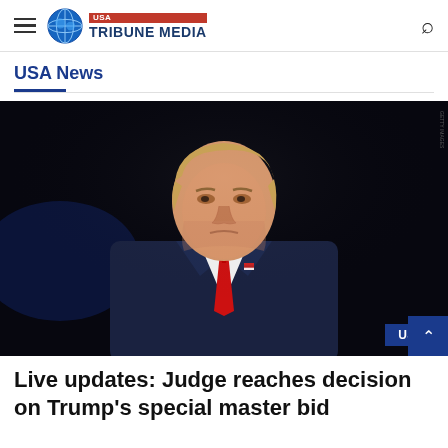USA Tribune Media
USA News
[Figure (photo): Portrait photo of Donald Trump in a dark navy suit and red tie against a dark background, with a USA badge overlay in the bottom-right corner]
Live updates: Judge reaches decision on Trump's special master bid